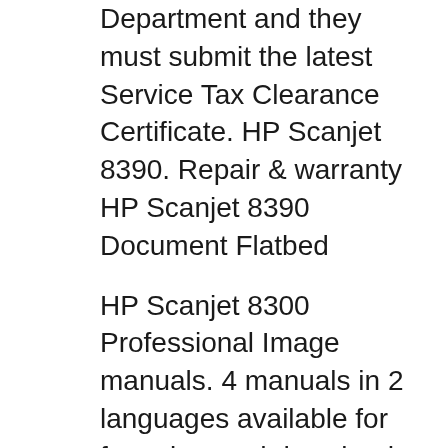Department and they must submit the latest Service Tax Clearance Certificate. HP Scanjet 8390. Repair & warranty HP Scanjet 8390 Document Flatbed
HP Scanjet 8300 Professional Image manuals. 4 manuals in 2 languages available for free view and download Reviewed by Xiuxiu Yin For your safety and comfort, read carefully e-Books hp scanjet 8200 manual librarydoc22 PDF this Our Library Download File Free PDF Ebook.
Téléchargez les dernier pilotes, firmware et logiciel pour votre Scanner HP Scanjet série 8200c.Ceci est le site officiel de HP pour télécharger.